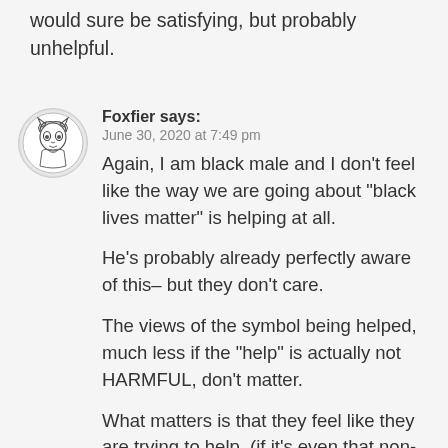would sure be satisfying, but probably unhelpful.
Foxfier says:
June 30, 2020 at 7:49 pm
Again, I am black male and I don't feel like the way we are going about "black lives matter" is helping at all.

He's probably already perfectly aware of this– but they don't care.

The views of the symbol being helped, much less if the "help" is actually not HARMFUL, don't matter.

What matters is that they feel like they are trying to help. (if it's even that non-